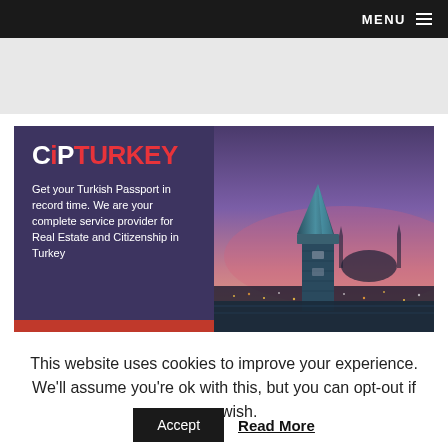MENU
[Figure (illustration): CiP Turkey banner ad with purple left panel showing logo and tagline, and right panel showing Istanbul skyline with mosque and minaret at dusk]
This website uses cookies to improve your experience. We'll assume you're ok with this, but you can opt-out if you wish.
Accept   Read More